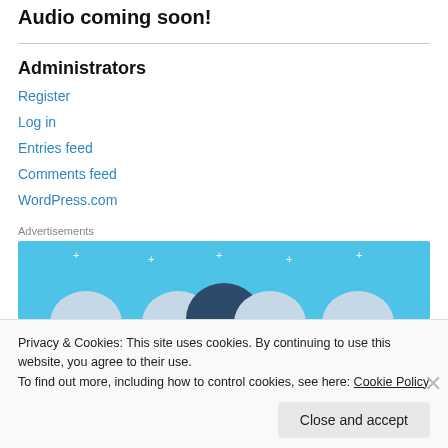Audio coming soon!
Administrators
Register
Log in
Entries feed
Comments feed
WordPress.com
Advertisements
[Figure (illustration): Blue advertisement banner with circular icon shapes and sparkle decorations]
Privacy & Cookies: This site uses cookies. By continuing to use this website, you agree to their use.
To find out more, including how to control cookies, see here: Cookie Policy
Close and accept